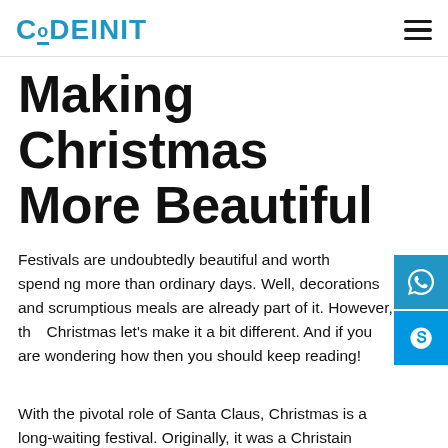CODEINIT
Making Christmas More Beautiful
Festivals are undoubtedly beautiful and worth spending more than ordinary days. Well, decorations and scrumptious meals are already part of it. However, this Christmas let's make it a bit different. And if you are wondering how then you should keep reading!
With the pivotal role of Santa Claus, Christmas is a long-waiting festival. Originally, it was a Christain festival observing the birthday of Jesus Christ. However, today...